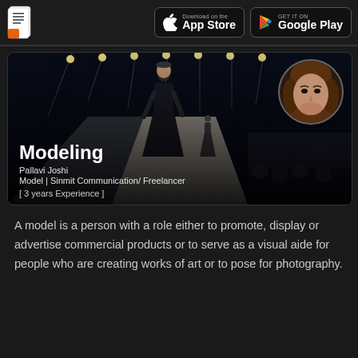App Store | Google Play
[Figure (photo): Fashion runway photo with models walking the catwalk, audience seated on right, stage lights overhead. Profile photo of Pallavi Joshi overlaid in top-right circle.]
Modeling
Pallavi Joshi
Model | Sinmit Communication/ Freelancer
[ 3 years Experience ]
A model is a person with a role either to promote, display or advertise commercial products or to serve as a visual aide for people who are creating works of art or to pose for photography.